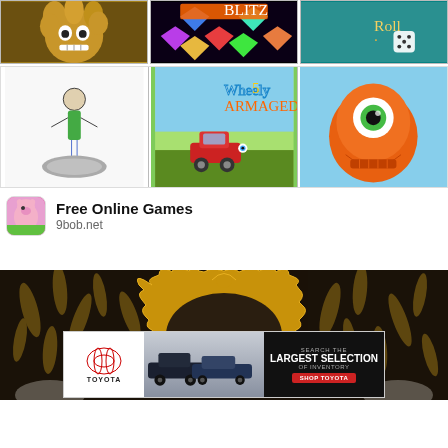[Figure (screenshot): Grid of 6 game thumbnails: top row shows a hairy monster character, a bejeweled puzzle game (Blitz), and a dice rolling game (Roll). Bottom row shows a stick figure on platform, Wheely 5 Armageddon car game, and an orange one-eyed monster character.]
Free Online Games
9bob.net
[Figure (photo): Interior room with dark damask wallpaper featuring gold leaf patterns, and an ornate gold baroque picture frame in the center.]
[Figure (screenshot): Toyota advertisement banner: Toyota logo on left, cars in center, dark right panel reading 'SEARCH THE LARGEST SELECTION OF INVENTORY' with red 'SHOP TOYOTA' button.]